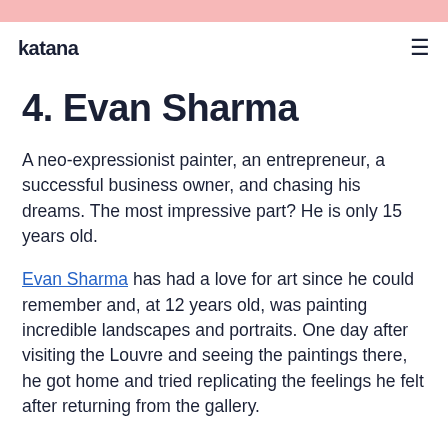katana
4. Evan Sharma
A neo-expressionist painter, an entrepreneur, a successful business owner, and chasing his dreams. The most impressive part? He is only 15 years old.
Evan Sharma has had a love for art since he could remember and, at 12 years old, was painting incredible landscapes and portraits. One day after visiting the Louvre and seeing the paintings there, he got home and tried replicating the feelings he felt after returning from the gallery.